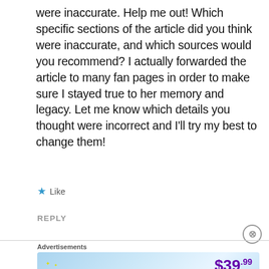were inaccurate. Help me out! Which specific sections of the article did you think were inaccurate, and which sources would you recommend? I actually forwarded the article to many fan pages in order to make sure I stayed true to her memory and legacy. Let me know which details you thought were incorrect and I'll try my best to change them!
★ Like
REPLY
[Figure (screenshot): Tumblr Ad-Free Browsing advertisement banner showing $39.99 a year or $4.99 a month pricing]